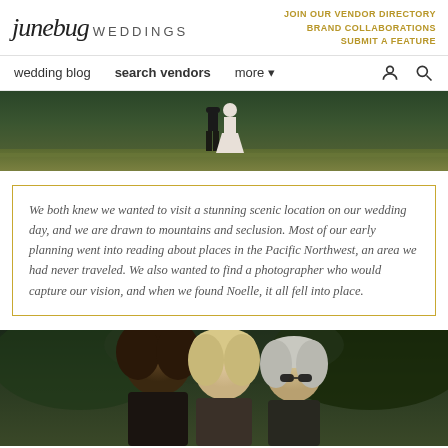junebug WEDDINGS | JOIN OUR VENDOR DIRECTORY BRAND COLLABORATIONS SUBMIT A FEATURE
wedding blog  search vendors  more
[Figure (photo): Outdoor wedding photo showing couple standing on grass, groom in dark suit, bride in white dress]
We both knew we wanted to visit a stunning scenic location on our wedding day, and we are drawn to mountains and seclusion. Most of our early planning went into reading about places in the Pacific Northwest, an area we had never traveled. We also wanted to find a photographer who would capture our vision, and when we found Noelle, it all fell into place.
[Figure (photo): Outdoor photo showing three people with long hair standing together in front of green foliage]